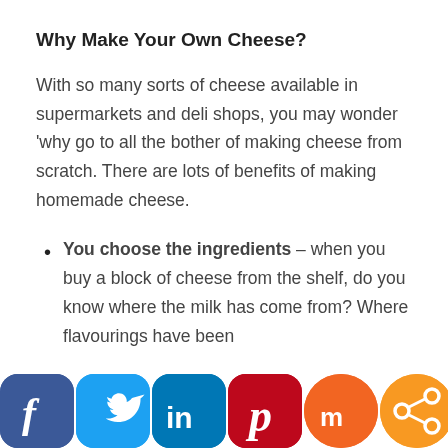Why Make Your Own Cheese?
With so many sorts of cheese available in supermarkets and deli shops, you may wonder ‘why go to all the bother of making cheese from scratch. There are lots of benefits of making homemade cheese.
You choose the ingredients – when you buy a block of cheese from the shelf, do you know where the milk has come from? Where flavourings have been added? Where...